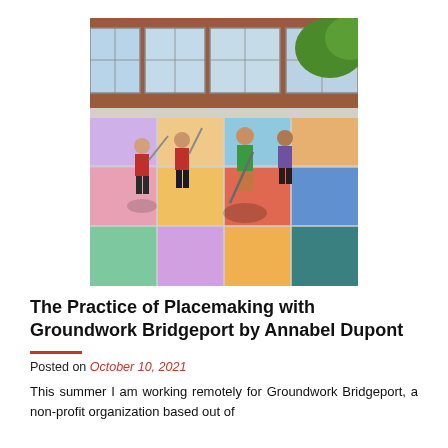[Figure (photo): People painting a colorful geometric mural on a pavement outside a brick building with large windows. Workers are using long-handled rollers to apply bright colors including pink, orange, green, blue, and teal in a grid pattern.]
The Practice of Placemaking with Groundwork Bridgeport by Annabel Dupont
Posted on October 10, 2021
This summer I am working remotely for Groundwork Bridgeport, a non-profit organization based out of